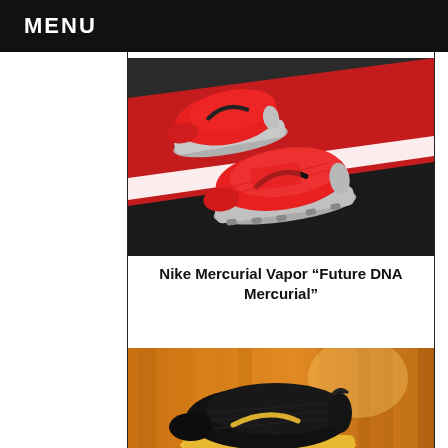MENU
[Figure (photo): Two red Nike Mercurial Vapor football boots on a red and black athletic track surface with a white line visible]
Nike Mercurial Vapor “Future DNA Mercurial”
[Figure (photo): Black Nike football boot on an orange/golden blurred background]